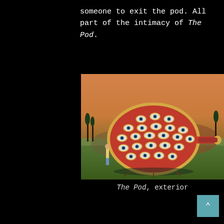someone to exit the pod. All part of the intimacy of The Pod.
[Figure (illustration): An illustrated image of a large red egg-shaped pod covered in eye-like circular patterns, sitting on a landscape with a person standing beside it for scale. There is a golden handle extending from the right side. The background shows mountains and trees at sunset with orange and green tones.]
The Pod, exterior